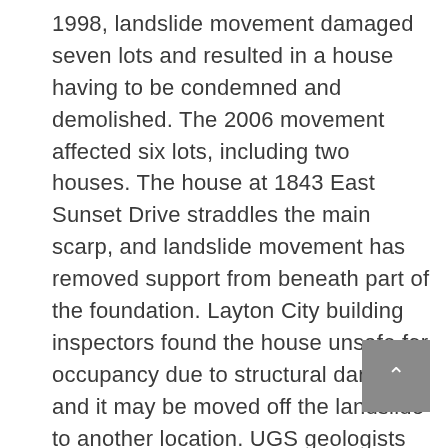1998, landslide movement damaged seven lots and resulted in a house having to be condemned and demolished. The 2006 movement affected six lots, including two houses. The house at 1843 East Sunset Drive straddles the main scarp, and landslide movement has removed support from beneath part of the foundation. Layton City building inspectors found the house unsafe for occupancy due to structural damage, and it may be moved off the landslide to another location. UGS geologists measured a 4- to 8-foot increase in ground-water levels in and near the